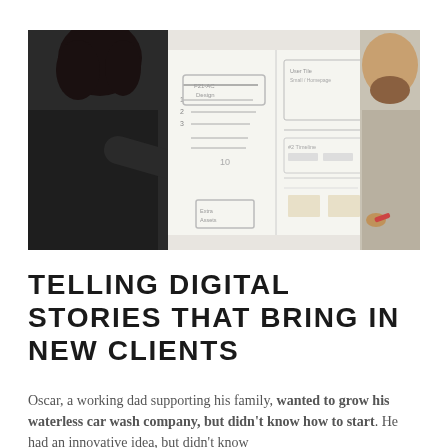[Figure (photo): Two people standing in front of a whiteboard covered with sketches and diagrams. On the left, a person with curly hair writes with a green marker. On the right, a man with a beard looks on.]
TELLING DIGITAL STORIES THAT BRING IN NEW CLIENTS
Oscar, a working dad supporting his family, wanted to grow his waterless car wash company, but didn't know how to start. He had an innovative idea, but didn't know